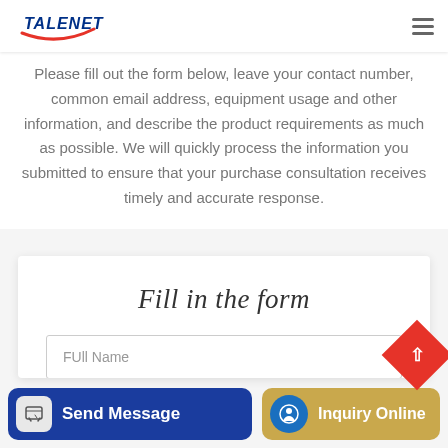[Figure (logo): Talenet logo with red arc and blue text]
Please fill out the form below, leave your contact number, common email address, equipment usage and other information, and describe the product requirements as much as possible. We will quickly process the information you submitted to ensure that your purchase consultation receives timely and accurate response.
Fill in the form
FUll Name
Whatsapp
Send Message
Inquiry Online